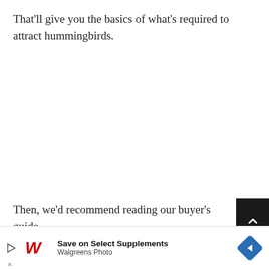That'll give you the basics of what's required to attract hummingbirds.
Then, we'd recommend reading our buyer's guide choosing the best hummingbird feeder. Setting up a
[Figure (other): Advertisement banner for Walgreens Photo: 'Save on Select Supplements Walgreens Photo' with Walgreens cursive logo and a blue navigation arrow icon.]